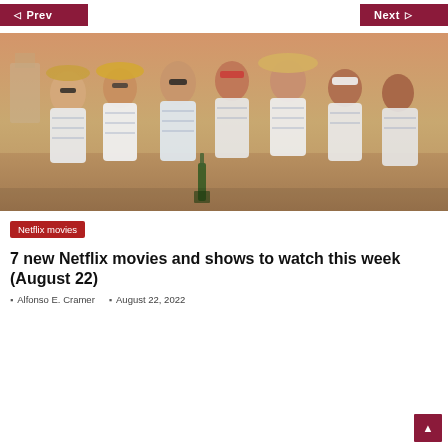◁ Prev    Next ▷
[Figure (photo): Group of seven people in white striped robes and hats sitting together outdoors, smiling at sunset, with a champagne bottle visible]
Netflix movies
7 new Netflix movies and shows to watch this week (August 22)
Alfonso E. Cramer    August 22, 2022